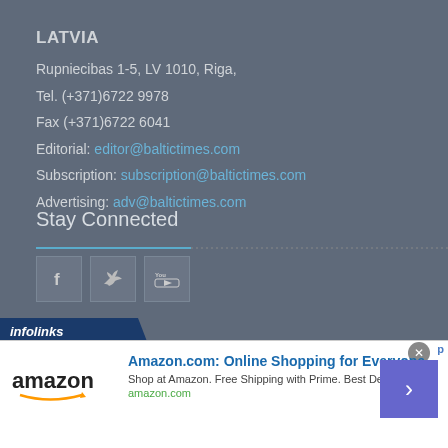LATVIA
Rupniecibas 1-5, LV 1010, Riga,
Tel. (+371)6722 9978
Fax (+371)6722 6041
Editorial: editor@baltictimes.com
Subscription: subscription@baltictimes.com
Advertising: adv@baltictimes.com
Stay Connected
[Figure (illustration): Social media icons: Facebook, Twitter, YouTube]
[Figure (infographic): Infolinks bar and Amazon advertisement: Amazon.com: Online Shopping for Everyone. Shop at Amazon. Free Shipping with Prime. Best Deals Ever! amazon.com]